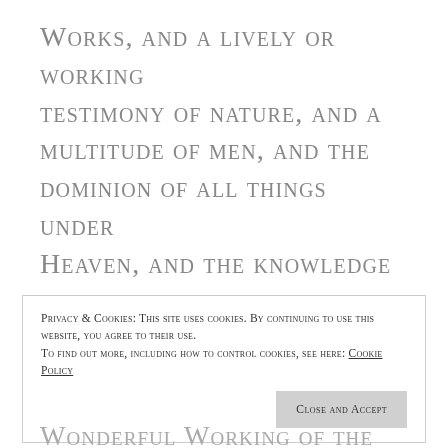WORKS, AND A LIVELY OR WORKING TESTIMONY OF NATURE, AND A MULTITUDE OF MEN, AND THE DOMINION OF ALL THINGS UNDER HEAVEN, AND THE KNOWLEDGE OF GOOD THINGS, AND TO BE INCREASED IN INCREASING, AND MULTIPLIED IN MULTITUDE.
AND EVERY SOUL IN FLESH, BY THE WONDERFUL WORKING OF THE GODS
Privacy & Cookies: This site uses cookies. By continuing to use this website, you agree to their use. To find out more, including how to control cookies, see here: Cookie Policy
Close and Accept